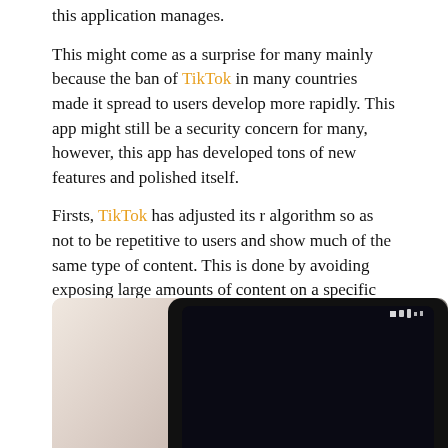this application manages.
This might come as a surprise for many mainly because the ban of TikTok in many countries made it spread to users develop more rapidly. This app might still be a security concern for many, however, this app has developed tons of new features and polished itself.
Firsts, TikTok has adjusted its r algorithm so as not to be repetitive to users and show much of the same type of content. This is done by avoiding exposing large amounts of content on a specific topic, the app wants to protect users’ mental well-being.
[Figure (photo): A hand holding a smartphone with a dark screen, photographed from above on a light background.]